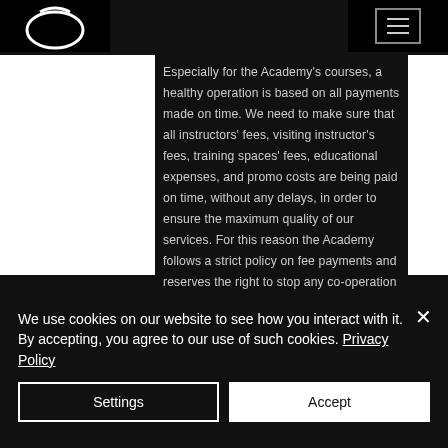[Figure (logo): Partial logo icon visible at top left corner, white symbol on black background]
[Figure (other): Hamburger menu icon (three horizontal lines) inside a bordered rectangle at top right]
Especially for the Academy's courses, a healthy operation is based on all payments made on time. We need to make sure that all instructors' fees, visiting instructor's fees, training spaces' fees, educational expenses, and promo costs are being paid on time, without any delays, in order to ensure the maximum quality of our services. For this reason the Academy follows a strict policy on fee payments and reserves the right to stop any co-operation with students/instructors, who don't respect our regulations, as this may affect the quality of our
We use cookies on our website to see how you interact with it. By accepting, you agree to our use of such cookies. Privacy Policy
Settings
Accept